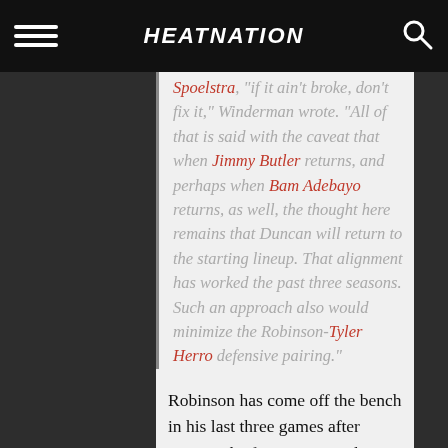HEATNATION
Spoelstra, "if it ain't broke, don't fix it," Winderman wrote. "All of that is said with the caveat that when Jimmy Butler returns, and perhaps when Bam Adebayo returns, as well, the thought here remains that Duncan will return to the starting lineup. That alignment has worked the past three seasons. Such an approach also would minimize the Robinson-Tyler Herro defensive pairing."
Robinson has come off the bench in his last three games after starting the first 35 games he appeared in this season.
The University of Michigan product got off to a slow start shooting the ball this season, but